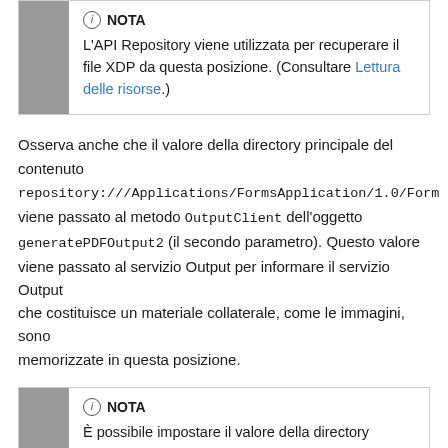NOTA
L'API Repository viene utilizzata per recuperare il file XDP da questa posizione. (Consultare Lettura delle risorse.)
Osserva anche che il valore della directory principale del contenuto repository:///Applications/FormsApplication/1.0/Forms viene passato al metodo OutputClient dell'oggetto generatePDFOutput2 (il secondo parametro). Questo valore viene passato al servizio Output per informare il servizio Output che costituisce un materiale collaterale, come le immagini, sono memorizzate in questa posizione.
NOTA
È possibile impostare il valore della directory principale del contenuto nello stesso modo quando si richiama il metodo generatePrintedOutput2